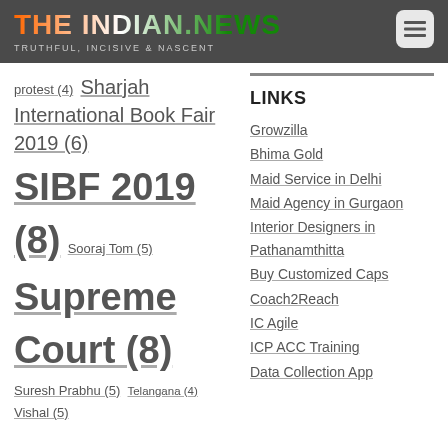THE INDIAN.NEWS — TRUTHFUL, INCISIVE & NASCENT
protest (4)
Sharjah International Book Fair 2019 (6)
SIBF 2019 (8)
Sooraj Tom (5)
Supreme Court (8)
Suresh Prabhu (5)
Telangana (4)
Vishal (5)
LINKS
Growzilla
Bhima Gold
Maid Service in Delhi
Maid Agency in Gurgaon
Interior Designers in Pathanamthitta
Buy Customized Caps
Coach2Reach
IC Agile
ICP ACC Training
Data Collection App